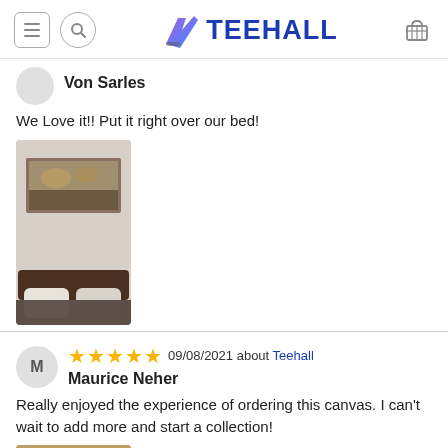TEEHALL
Von Sarles
We Love it!! Put it right over our bed!
[Figure (photo): Photo of a canvas print hung above a bed headboard with pillows visible at the bottom]
★★★★★ 09/08/2021 about Teehall
Maurice Neher
Really enjoyed the experience of ordering this canvas. I can't wait to add more and start a collection!
[Figure (photo): Partial photo of a canvas with text 'Country Roads TAKE ME HOME' visible]